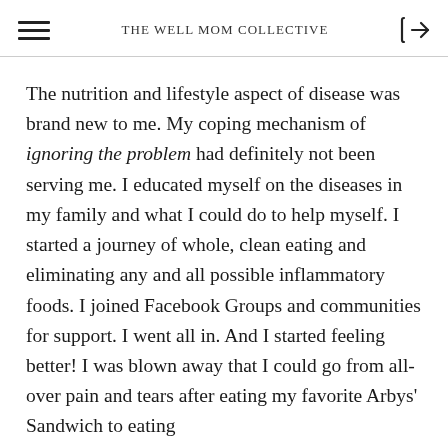The Well Mom Collective
The nutrition and lifestyle aspect of disease was brand new to me. My coping mechanism of ignoring the problem had definitely not been serving me. I educated myself on the diseases in my family and what I could do to help myself. I started a journey of whole, clean eating and eliminating any and all possible inflammatory foods. I joined Facebook Groups and communities for support. I went all in. And I started feeling better! I was blown away that I could go from all-over pain and tears after eating my favorite Arbys' Sandwich to eating